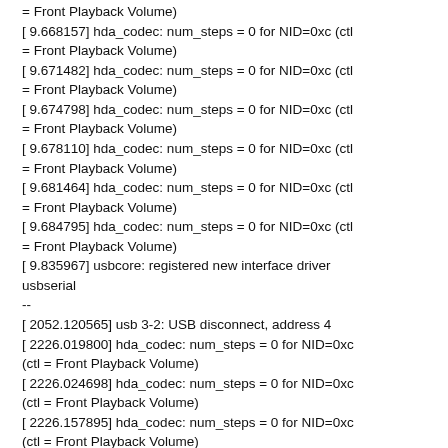= Front Playback Volume)
[ 9.668157] hda_codec: num_steps = 0 for NID=0xc (ctl = Front Playback Volume)
[ 9.671482] hda_codec: num_steps = 0 for NID=0xc (ctl = Front Playback Volume)
[ 9.674798] hda_codec: num_steps = 0 for NID=0xc (ctl = Front Playback Volume)
[ 9.678110] hda_codec: num_steps = 0 for NID=0xc (ctl = Front Playback Volume)
[ 9.681464] hda_codec: num_steps = 0 for NID=0xc (ctl = Front Playback Volume)
[ 9.684795] hda_codec: num_steps = 0 for NID=0xc (ctl = Front Playback Volume)
[ 9.835967] usbcore: registered new interface driver usbserial
--
[ 2052.120565] usb 3-2: USB disconnect, address 4
[ 2226.019800] hda_codec: num_steps = 0 for NID=0xc (ctl = Front Playback Volume)
[ 2226.024698] hda_codec: num_steps = 0 for NID=0xc (ctl = Front Playback Volume)
[ 2226.157895] hda_codec: num_steps = 0 for NID=0xc (ctl = Front Playback Volume)
Question information